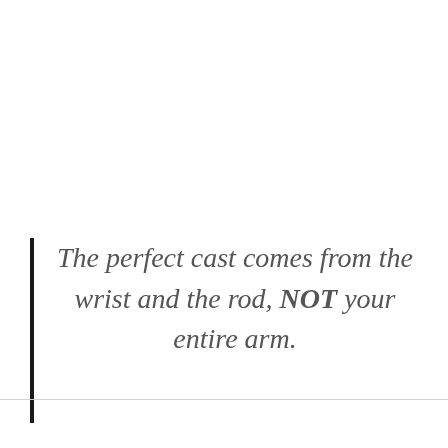The perfect cast comes from the wrist and the rod, NOT your entire arm.